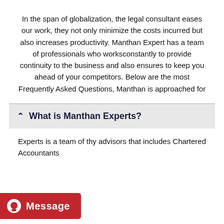In the span of globalization, the legal consultant eases our work, they not only minimize the costs incurred but also increases productivity. Manthan Expert has a team of professionals who worksconstantly to provide continuity to the business and also ensures to keep you ahead of your competitors. Below are the most Frequently Asked Questions, Manthan is approached for
What is Manthan Experts?
Experts is a team of thy advisors that includes Chartered Accountants
[Figure (other): Message chat button in red with white text and icon]